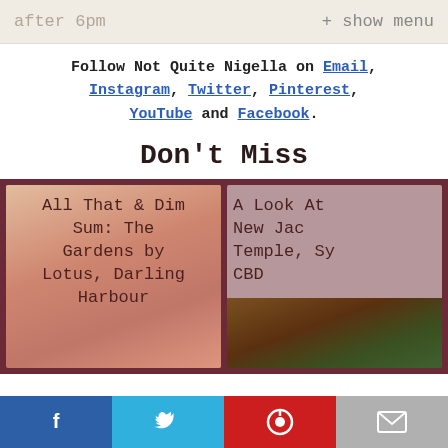after 6pm    + show menu
Follow Not Quite Nigella on Email, Instagram, Twitter, Pinterest, YouTube and Facebook.
Don't Miss
[Figure (photo): Card showing food photo with overlay text: All That & Dim Sum: The Gardens by Lotus, Darling Harbour]
[Figure (photo): Card showing partial text: A Look At New Jac Temple, Sy CBD with food photo below]
Social share bar: Facebook, Twitter, Pinterest, Email